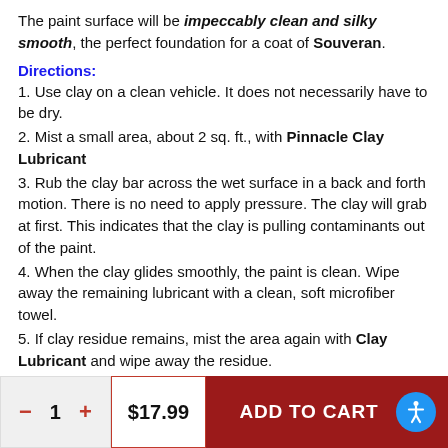The paint surface will be impeccably clean and silky smooth, the perfect foundation for a coat of Souveran.
Directions:
1. Use clay on a clean vehicle. It does not necessarily have to be dry.
2. Mist a small area, about 2 sq. ft., with Pinnacle Clay Lubricant
3. Rub the clay bar across the wet surface in a back and forth motion. There is no need to apply pressure. The clay will grab at first. This indicates that the clay is pulling contaminants out of the paint.
4. When the clay glides smoothly, the paint is clean. Wipe away the remaining lubricant with a clean, soft microfiber towel.
5. If clay residue remains, mist the area again with Clay Lubricant and wipe away the residue.
6. Reshape the clay as needed to reveal a clean portion. If you
1  $17.99  ADD TO CART